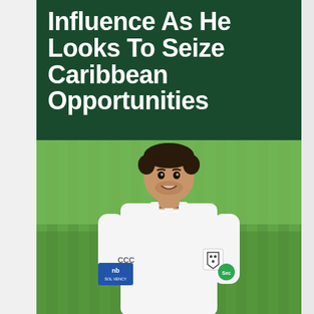Influence As He Looks To Seize Caribbean Opportunities
[Figure (photo): Young male cricketer smiling, wearing a white Canterbury cricket shirt with the Worcestershire County Cricket Club badge and rainbow-coloured collar badges, standing in front of a green grass cricket outfield background.]